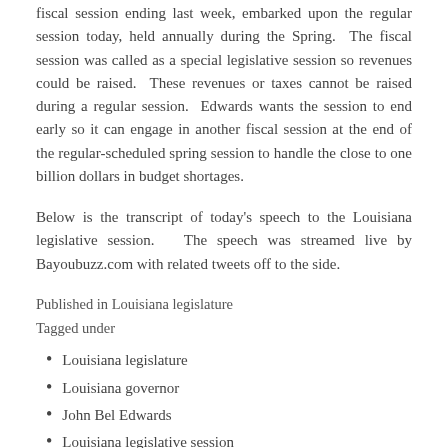fiscal session ending last week, embarked upon the regular session today, held annually during the Spring. The fiscal session was called as a special legislative session so revenues could be raised. These revenues or taxes cannot be raised during a regular session. Edwards wants the session to end early so it can engage in another fiscal session at the end of the regular-scheduled spring session to handle the close to one billion dollars in budget shortages.
Below is the transcript of today's speech to the Louisiana legislative session. The speech was streamed live by Bayoubuzz.com with related tweets off to the side.
Published in Louisiana legislature
Tagged under
Louisiana legislature
Louisiana governor
John Bel Edwards
Louisiana legislative session
Louisiana education
criminal justice reform
fiscal cliff